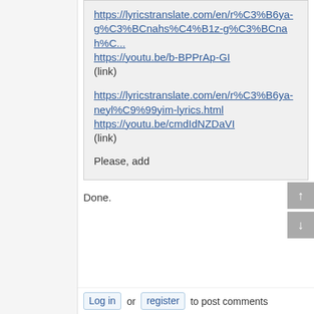https://lyricstranslate.com/en/r%C3%B6ya-g%C3%BCnahs%C4%B1z-g%C3%BCnah%C... https://youtu.be/b-BPPrAp-GI (link)
https://lyricstranslate.com/en/r%C3%B6ya-neyl%C9%99yim-lyrics.html https://youtu.be/cmdIdNZDaVI (link)
Please, add
Done.
Log in or register to post comments